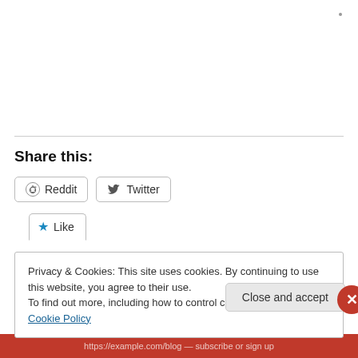Share this:
Reddit  Twitter
Like
Privacy & Cookies: This site uses cookies. By continuing to use this website, you agree to their use.
To find out more, including how to control cookies, see here: Cookie Policy
Close and accept